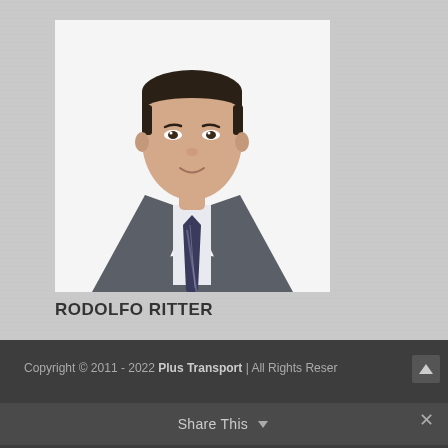[Figure (photo): Professional headshot of a young man in a dark gray suit with a striped tie, white shirt, against a white background]
RODOLFO RITTER
Copyright © 2011 - 2022 Plus Transport | All Rights Reserved
Share This